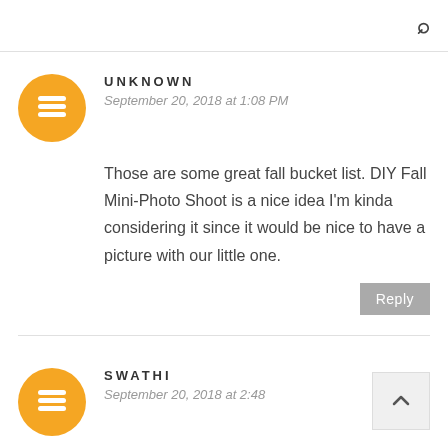🔍
UNKNOWN
September 20, 2018 at 1:08 PM
Those are some great fall bucket list. DIY Fall Mini-Photo Shoot is a nice idea I'm kinda considering it since it would be nice to have a picture with our little one.
Reply
SWATHI
September 20, 2018 at 2:48
I haven planned anything for fall